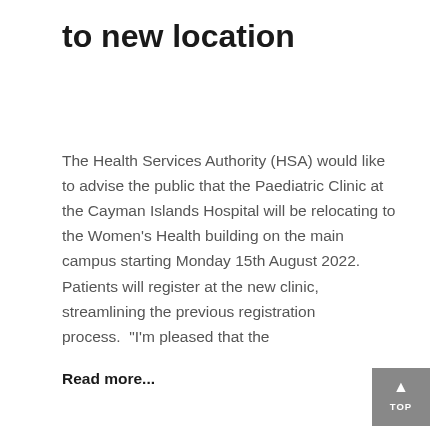to new location
The Health Services Authority (HSA) would like to advise the public that the Paediatric Clinic at the Cayman Islands Hospital will be relocating to the Women's Health building on the main campus starting Monday 15th August 2022.   Patients will register at the new clinic, streamlining the previous registration process.  “I’m pleased that the
Read more...